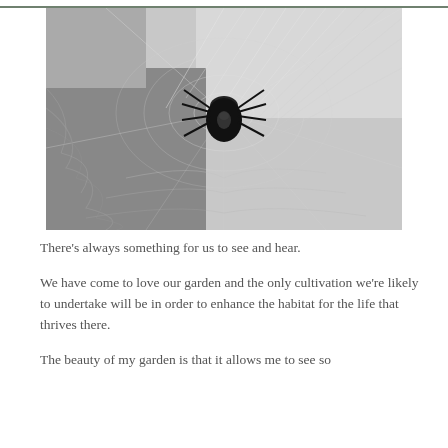[Figure (photo): Black and white close-up photograph of a spider hanging in its web, with fine web strands visible across the entire frame.]
There’s always something for us to see and hear.
We have come to love our garden and the only cultivation we’re likely to undertake will be in order to enhance the habitat for the life that thrives there.
The beauty of my garden is that it allows me to see so